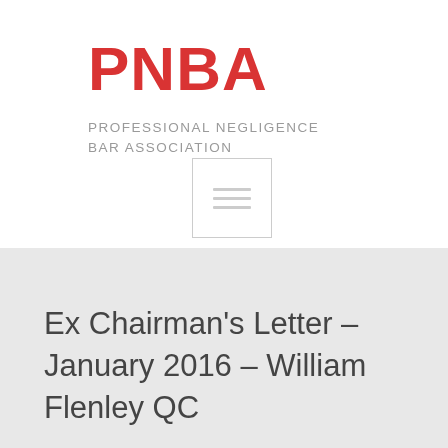[Figure (logo): PNBA Professional Negligence Bar Association logo with red bold PNBA text and grey subtitle]
[Figure (other): Menu icon box with three horizontal lines inside a square border]
Ex Chairman's Letter – January 2016 – William Flenley QC